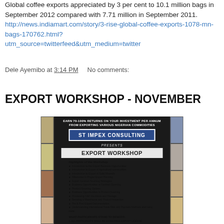Global coffee exports appreciated by 3 per cent to 10.1 million bags in September 2012 compared with 7.71 million in September 2011. http://news.indiamart.com/story/3-rise-global-coffee-exports-1078-mn-bags-170762.html?utm_source=twitterfeed&utm_medium=twitter
Dele Ayemibo at 3:14 PM   No comments:
EXPORT WORKSHOP - NOVEMBER
[Figure (infographic): Flyer for ST IMPEX CONSULTING Export Workshop. Header text: EARN 70-100% RETURNS ON YOUR INVESTMENT PER ANNUM FROM EXPORTING VARIOUS NIGERIAN COMMODITIES. Blue banner with white text: ST IMPEX CONSULTING. Presents EXPORT WORKSHOP. Highlights of the Workshop listing bullet points. WHAT PARTICIPANTS STAND TO BENEFIT section. Side images of commodities.]